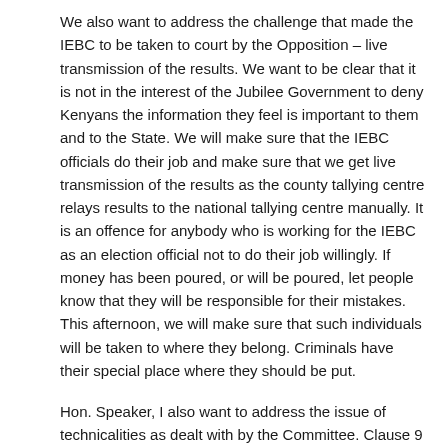We also want to address the challenge that made the IEBC to be taken to court by the Opposition – live transmission of the results. We want to be clear that it is not in the interest of the Jubilee Government to deny Kenyans the information they feel is important to them and to the State. We will make sure that the IEBC officials do their job and make sure that we get live transmission of the results as the county tallying centre relays results to the national tallying centre manually. It is an offence for anybody who is working for the IEBC as an election official not to do their job willingly. If money has been poured, or will be poured, let people know that they will be responsible for their mistakes. This afternoon, we will make sure that such individuals will be taken to where they belong. Criminals have their special place where they should be put.
Hon. Speaker, I also want to address the issue of technicalities as dealt with by the Committee. Clause 9 deals with the technicalities that made the Supreme Court to nullify the election of Hon. Uhuru Kenyatta following the general elections of 8th August 2017. We want to make sure that nobody, especially Members of the Opposition, led by former Prime Minister Raila Odinga gets an opportunity to run to court on the basis of technicalities he cannot ascertain. Once this Bill is passed, anybody who takes the IEBC to court will be required to prove beyond reasonable doubt that they